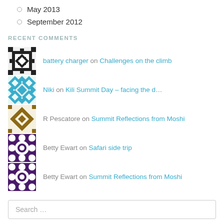May 2013
September 2012
RECENT COMMENTS
battery charger on Challenges on the climb
Niki on Kili Summit Day – facing the d…
R Pescatore on Summit Reflections from Moshi
Betty Ewart on Safari side trip
Betty Ewart on Summit Reflections from Moshi
Search …